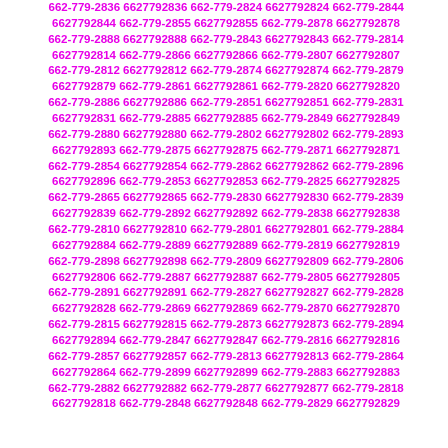662-779-2836 6627792836 662-779-2824 6627792824 662-779-2844 6627792844 662-779-2855 6627792855 662-779-2878 6627792878 662-779-2888 6627792888 662-779-2843 6627792843 662-779-2814 6627792814 662-779-2866 6627792866 662-779-2807 6627792807 662-779-2812 6627792812 662-779-2874 6627792874 662-779-2879 6627792879 662-779-2861 6627792861 662-779-2820 6627792820 662-779-2886 6627792886 662-779-2851 6627792851 662-779-2831 6627792831 662-779-2885 6627792885 662-779-2849 6627792849 662-779-2880 6627792880 662-779-2802 6627792802 662-779-2893 6627792893 662-779-2875 6627792875 662-779-2871 6627792871 662-779-2854 6627792854 662-779-2862 6627792862 662-779-2896 6627792896 662-779-2853 6627792853 662-779-2825 6627792825 662-779-2865 6627792865 662-779-2830 6627792830 662-779-2839 6627792839 662-779-2892 6627792892 662-779-2838 6627792838 662-779-2810 6627792810 662-779-2801 6627792801 662-779-2884 6627792884 662-779-2889 6627792889 662-779-2819 6627792819 662-779-2898 6627792898 662-779-2809 6627792809 662-779-2806 6627792806 662-779-2887 6627792887 662-779-2805 6627792805 662-779-2891 6627792891 662-779-2827 6627792827 662-779-2828 6627792828 662-779-2869 6627792869 662-779-2870 6627792870 662-779-2815 6627792815 662-779-2873 6627792873 662-779-2894 6627792894 662-779-2847 6627792847 662-779-2816 6627792816 662-779-2857 6627792857 662-779-2813 6627792813 662-779-2864 6627792864 662-779-2899 6627792899 662-779-2883 6627792883 662-779-2882 6627792882 662-779-2877 6627792877 662-779-2818 6627792818 662-779-2848 6627792848 662-779-2829 6627792829